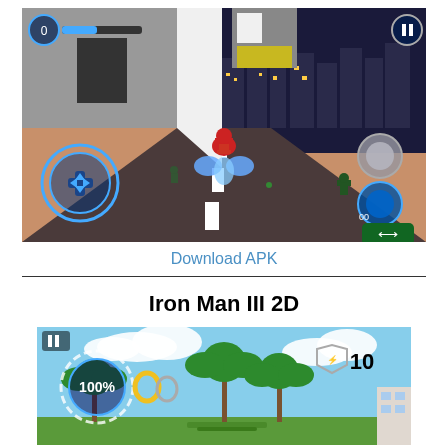[Figure (screenshot): Iron Man 3D game screenshot showing Iron Man flying over a road in a city at night, with game UI controls including a joystick on the left, blue glowing propulsion effects, enemy robots on the road, and HUD elements including health bar and buttons.]
Download APK
[Figure (screenshot): Iron Man III 2D game screenshot showing Iron Man in a side-scrolling game with palm trees, blue sky, health meter showing 100%, score showing 10, and other game UI elements.]
Iron Man III 2D